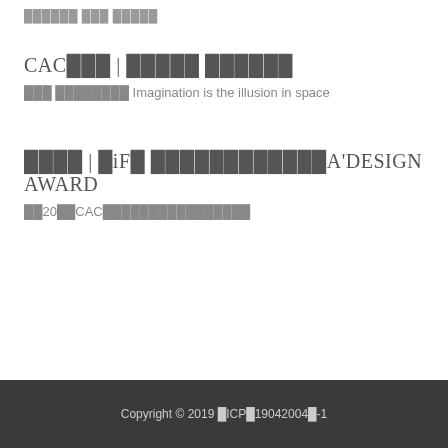██████ ███ █████
CAC███ | █████ ██████
███ ████████ Imagination is the illusion in space
████ | █iF█ ████████████A'DESIGN AWARD
██20██CAC████████████████
Copyright © 2019 █ICP█19042004█-1